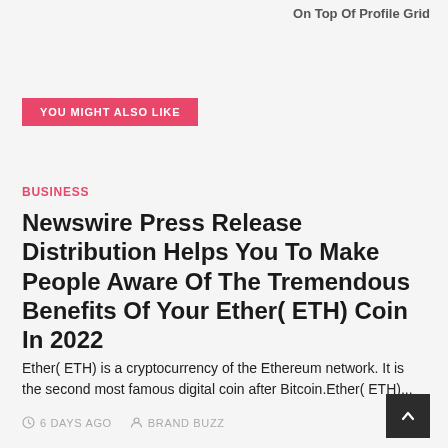On Top Of Profile Grid
YOU MIGHT ALSO LIKE
BUSINESS
Newswire Press Release Distribution Helps You To Make People Aware Of The Tremendous Benefits Of Your Ether( ETH) Coin In 2022
Ether( ETH) is a cryptocurrency of the Ethereum network. It is the second most famous digital coin after Bitcoin.Ether( ETH)...
6 DAYS AGO   BRAND BUZZ